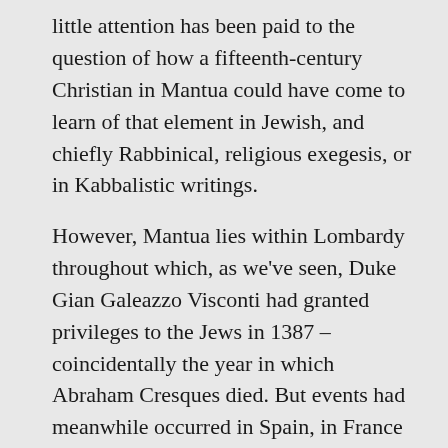little attention has been paid to the question of how a fifteenth-century Christian in Mantua could have come to learn of that element in Jewish, and chiefly Rabbinical, religious exegesis, or in Kabbalistic writings.
However, Mantua lies within Lombardy throughout which, as we've seen, Duke Gian Galeazzo Visconti had granted privileges to the Jews in 1387 – coincidentally the year in which Abraham Cresques died. But events had meanwhile occurred in Spain, in France and in Mallorca which offer a possible explanation for this early use of the atbash technique by a Latin in